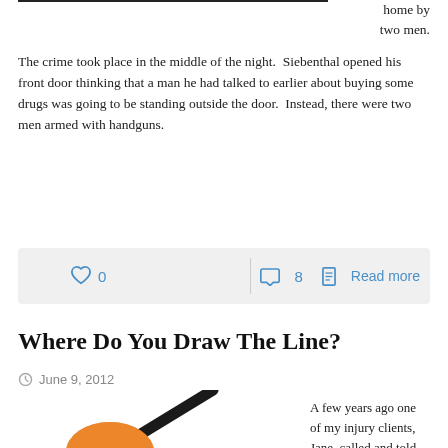home by two men.
The crime took place in the middle of the night.  Siebenthal opened his front door thinking that a man he had talked to earlier about buying some drugs was going to be standing outside the door.  Instead, there were two men armed with handguns.
[Figure (other): Action bar with heart icon (0 likes), comment icon (8 comments), and Read more link]
Where Do You Draw The Line?
June 9, 2012
[Figure (photo): Partial image of a spoon with an orange/amber colored bowl, photographed at an angle]
A few years ago one of my injury clients, Jane, called and told me that she had recently ended a homosexual relationship and was being